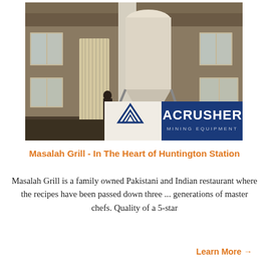[Figure (photo): Industrial facility interior showing large machinery including a hopper/silo and dust collection equipment in a factory building with windows. Overlaid with ACRUSHER Mining Equipment logo in bottom right corner.]
Masalah Grill - In The Heart of Huntington Station
Masalah Grill is a family owned Pakistani and Indian restaurant where the recipes have been passed down three ... generations of master chefs. Quality of a 5-star
Learn More →